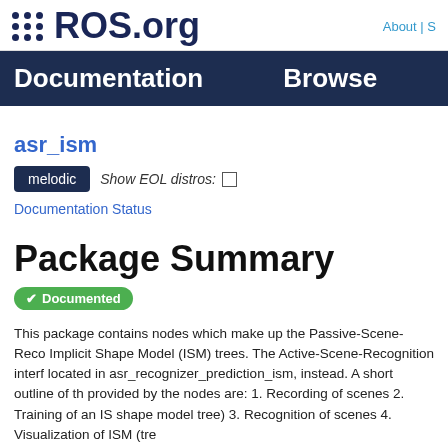ROS.org  About | S
Documentation  Browse
asr_ism
melodic  Show EOL distros: ☐
Documentation Status
Package Summary
✔ Documented
This package contains nodes which make up the Passive-Scene-Reco... Implicit Shape Model (ISM) trees. The Active-Scene-Recognition interf... located in asr_recognizer_prediction_ism, instead. A short outline of th... provided by the nodes are: 1. Recording of scenes 2. Training of an IS... shape model tree) 3. Recognition of scenes 4. Visualization of ISM (tre...